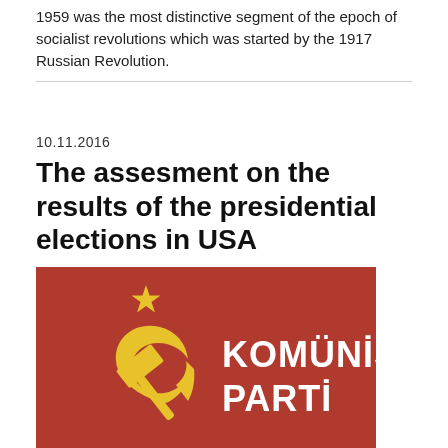1959 was the most distinctive segment of the epoch of socialist revolutions which was started by the 1917 Russian Revolution.
10.11.2016
The assesment on the results of the presidential elections in USA
[Figure (logo): Komünist Parti logo — red background with gold hammer and sickle symbol and star, white bold text reading KOMÜNİST PARTİ]
The global crisis of the capitalism keeps getting intensified. All the crisis of capitalism provide a chance for the system to